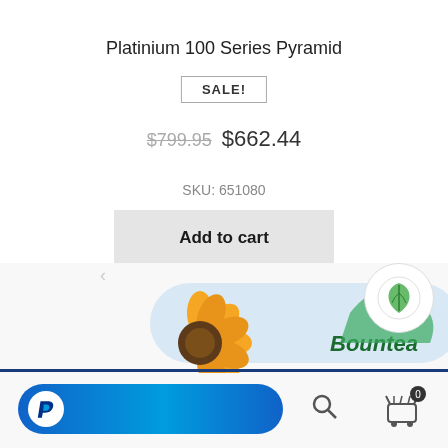Platinium 100 Series Pyramid
SALE!
$799.95  $662.44
SKU: 651080
Add to cart
[Figure (illustration): Bountea brand website screenshot showing illustrated floral banner with sunflower, berries, and brand name 'Bountea', PayPal checkout button, search icon, and shopping cart icon with badge showing 0]
[Figure (logo): Green leaf logo in circle]